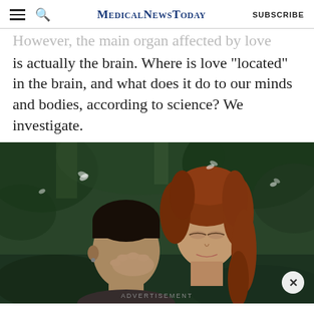MedicalNewsToday | SUBSCRIBE
However, the main organ affected by love is actually the brain. Where is love “located” in the brain, and what does it do to our minds and bodies, according to science? We investigate.
[Figure (photo): A couple in an intimate moment about to kiss, outdoors with green foliage in the background. The woman has red curly hair and is holding the man's face.]
ADVERTISEMENT